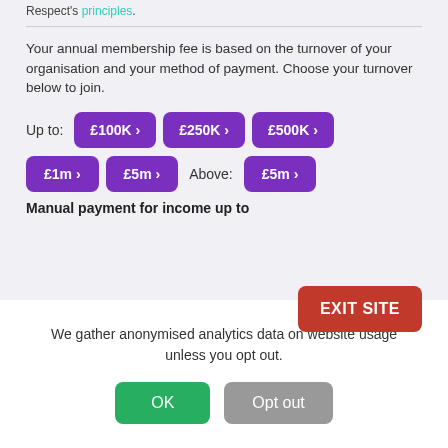Respect's principles.
Your annual membership fee is based on the turnover of your organisation and your method of payment. Choose your turnover below to join.
Up to: £100K > £250K > £500K > £1m > £5m > Above: £5m >
Manual payment for income up to
EXIT SITE
We gather anonymised analytics data on website usage unless you opt out.
OK
Opt out